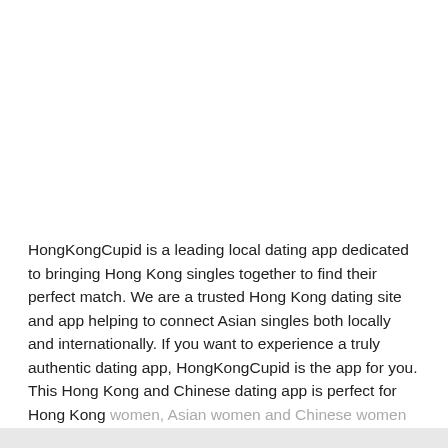HongKongCupid is a leading local dating app dedicated to bringing Hong Kong singles together to find their perfect match. We are a trusted Hong Kong dating site and app helping to connect Asian singles both locally and internationally. If you want to experience a truly authentic dating app, HongKongCupid is the app for you. This Hong Kong and Chinese dating app is perfect for Hong Kong women, Asian women and Chinese women looking for love, dating and marriage minded men. With the HongKongCupid mobile app...
Show More...